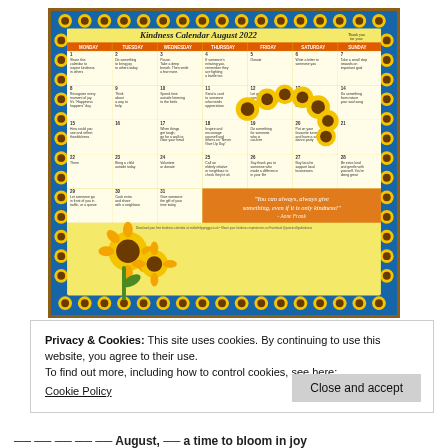[Figure (illustration): Kindness Calendar August 2022 — a decorative calendar with sunflower border and sunflower illustrations. Contains a grid of daily kindness activities for August 2022, an orange quote bar reading 'You can always, always give something, even if it is only kindness! - Anne Frank', and a footer with website info.]
Privacy & Cookies: This site uses cookies. By continuing to use this website, you agree to their use.
To find out more, including how to control cookies, see here:
Cookie Policy
Close and accept
— We are the August, — a time to bloom in joy